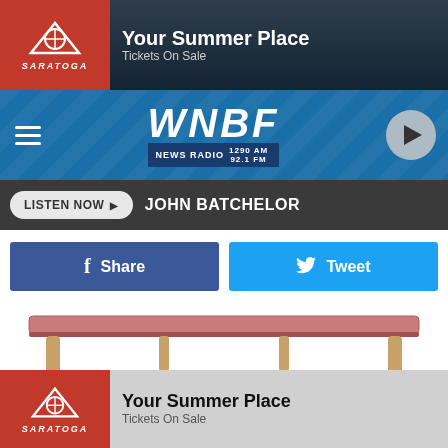[Figure (screenshot): Saratoga 'Your Summer Place – Tickets On Sale' advertisement banner at top]
[Figure (screenshot): WNBF News Radio navigation bar with hamburger menu and play button]
LISTEN NOW  JOHN BATCHELOR
[Figure (screenshot): Facebook Share and Twitter Tweet social sharing buttons]
[Figure (photo): Image of a sofa/bench with wooden legs and pink/red upholstery]
Unsold Sofas Could Be Dirt Cheap Now: See Prices
Sofas | Search ads
[Figure (photo): Construction or industrial scene with yellow and black equipment against stone/concrete walls]
[Figure (screenshot): Saratoga 'Your Summer Place – Tickets On Sale' advertisement banner at bottom]